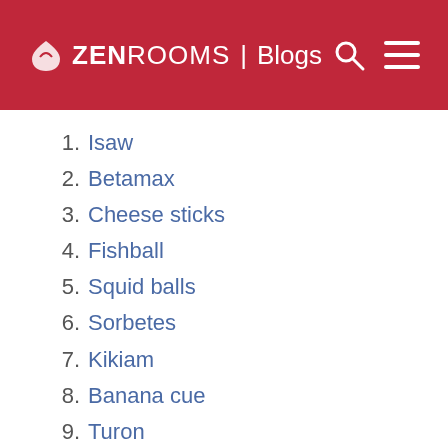ZEN ROOMS | Blogs
1. Isaw
2. Betamax
3. Cheese sticks
4. Fishball
5. Squid balls
6. Sorbetes
7. Kikiam
8. Banana cue
9. Turon
10. Taho
11. Chicken skin
12. Balut
13. Kwek-kwek